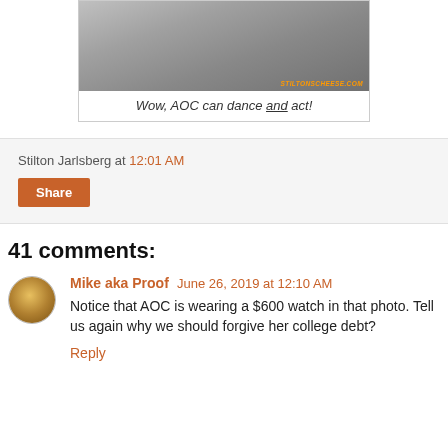[Figure (photo): Partial photo of a person near a chain-link fence, with a watermark reading 'stiltonscheese.com' or similar orange text at bottom right]
Wow, AOC can dance and act!
Stilton Jarlsberg at 12:01 AM
Share
41 comments:
Mike aka Proof  June 26, 2019 at 12:10 AM
Notice that AOC is wearing a $600 watch in that photo. Tell us again why we should forgive her college debt?
Reply